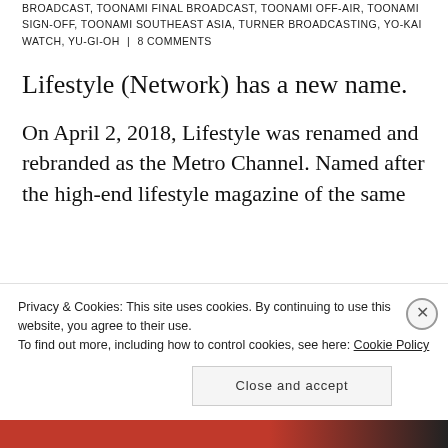BROADCAST, TOONAMI FINAL BROADCAST, TOONAMI OFF-AIR, TOONAMI SIGN-OFF, TOONAMI SOUTHEAST ASIA, TURNER BROADCASTING, YO-KAI WATCH, YU-GI-OH | 8 COMMENTS
Lifestyle (Network) has a new name.
On April 2, 2018, Lifestyle was renamed and rebranded as the Metro Channel. Named after the high-end lifestyle magazine of the same name, Metro Channel will f…
Privacy & Cookies: This site uses cookies. By continuing to use this website, you agree to their use.
To find out more, including how to control cookies, see here: Cookie Policy
Close and accept